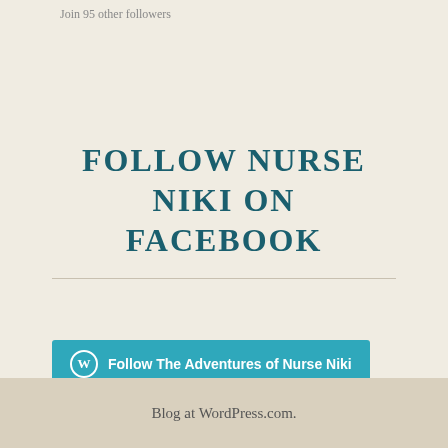Join 95 other followers
FOLLOW NURSE NIKI ON FACEBOOK
Follow The Adventures of Nurse Niki
Blog at WordPress.com.